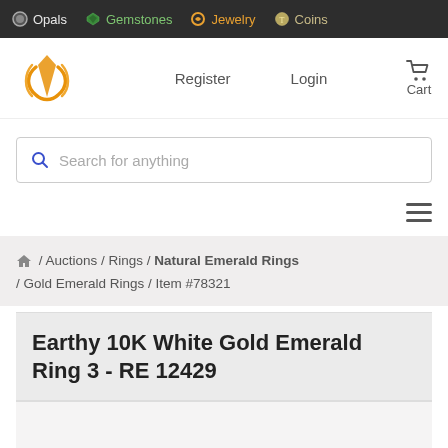Opals  Gemstones  Jewelry  Coins
Register  Login  Cart
Search for anything
Auctions / Rings / Natural Emerald Rings / Gold Emerald Rings / Item #78321
Earthy 10K White Gold Emerald Ring 3 - RE 12429